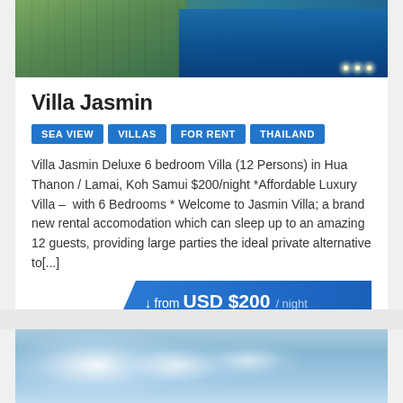[Figure (photo): Aerial/top-down view of a villa with staircase on the left and illuminated pool on the right, blue and green tones]
Villa Jasmin
SEA VIEW
VILLAS
FOR RENT
THAILAND
Villa Jasmin Deluxe 6 bedroom Villa (12 Persons) in Hua Thanon / Lamai, Koh Samui $200/night *Affordable Luxury Villa –  with 6 Bedrooms * Welcome to Jasmin Villa; a brand new rental accomodation which can sleep up to an amazing 12 guests, providing large parties the ideal private alternative to[...]
↓ from USD $200 / night
[Figure (photo): Partial aerial photo of a villa or pool area with blue sky and clouds, light blue tones at bottom of page]